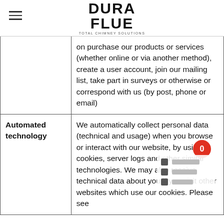DURA FLUE - TOTAL CHIMNEY SOLUTIONS
| Source | Description |
| --- | --- |
|  | on purchase our products or services (whether online or via another method), create a user account, join our mailing list, take part in surveys or otherwise or correspond with us (by post, phone or email) |
| Automated technology | We automatically collect personal data (technical and usage) when you browse or interact with our website, by using cookies, server logs and other similar technologies. We may also receive technical data about you if you visit other websites which use our cookies. Please see |